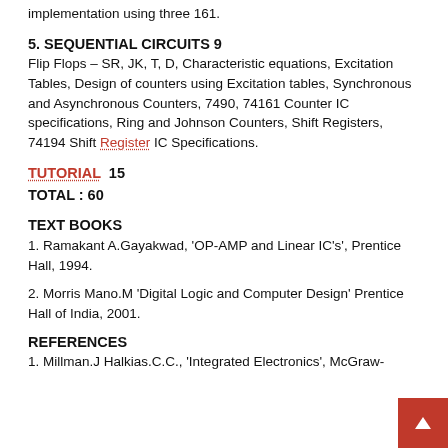implementation using three 161.
5. SEQUENTIAL CIRCUITS 9
Flip Flops – SR, JK, T, D, Characteristic equations, Excitation Tables, Design of counters using Excitation tables, Synchronous and Asynchronous Counters, 7490, 74161 Counter IC specifications, Ring and Johnson Counters, Shift Registers, 74194 Shift Register IC Specifications.
TUTORIAL  15
TOTAL : 60
TEXT BOOKS
1. Ramakant A.Gayakwad, 'OP-AMP and Linear IC's', Prentice Hall, 1994.
2. Morris Mano.M 'Digital Logic and Computer Design' Prentice Hall of India, 2001.
REFERENCES
1. Millman.J Halkias.C.C., 'Integrated Electronics', McGraw-